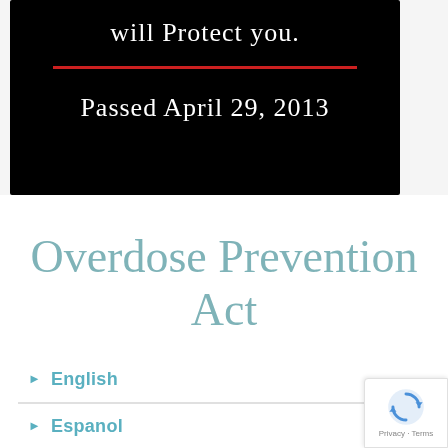[Figure (screenshot): Black banner with white text reading 'will Protect you.' and a red horizontal line, followed by 'Passed April 29, 2013']
Overdose Prevention Act
English
Espanol
[Figure (other): reCAPTCHA badge showing Privacy - Terms]